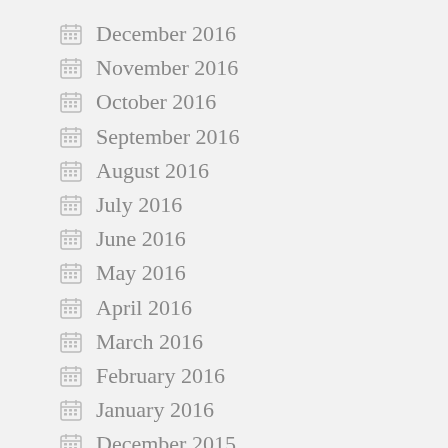December 2016
November 2016
October 2016
September 2016
August 2016
July 2016
June 2016
May 2016
April 2016
March 2016
February 2016
January 2016
December 2015
November 2015